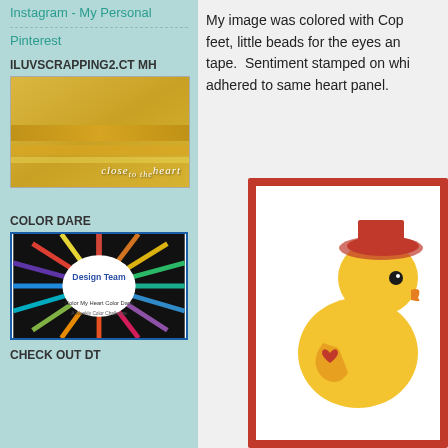Instagram - My Personal
Pinterest
ILUVSCRAPPING2.CTMH
[Figure (photo): Close to the Heart shop now advertisement with gold glitter ribbon background]
COLOR DARE
[Figure (photo): Color My Heart Color Dare Design Team badge with colorful pencils radiating outward]
CHECK OUT DT
My image was colored with Cop feet, little beads for the eyes an tape.  Sentiment stamped on whi adhered to same heart panel.
[Figure (photo): Handmade greeting card featuring a cute yellow duck with a red hat on a heart-patterned background with red border]